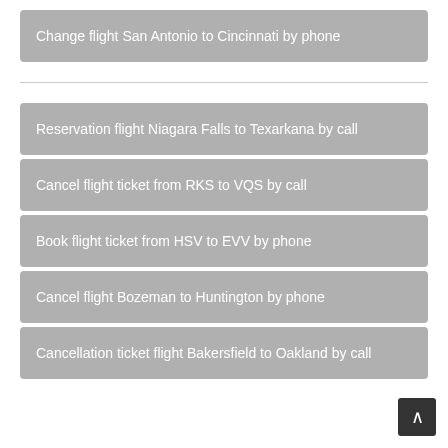Change flight San Antonio to Cincinnati by phone
Reservation flight Niagara Falls to Texarkana by call
Cancel flight ticket from RKS to VQS by call
Book flight ticket from HSV to EVV by phone
Cancel flight Bozeman to Huntington by phone
Cancellation ticket flight Bakersfield to Oakland by call